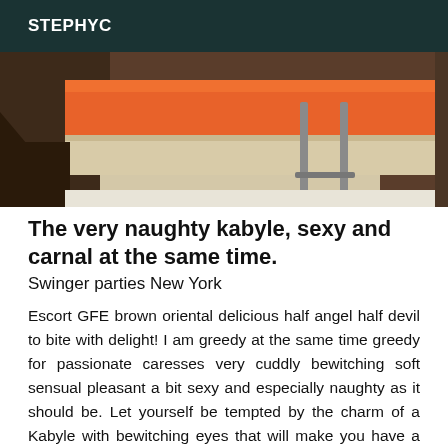STEPHYC
[Figure (photo): Partial view of a room with an orange surface/furniture piece, beige/cream tones and a metal stand or chair frame visible]
The very naughty kabyle, sexy and carnal at the same time.
Swinger parties New York
Escort GFE brown oriental delicious half angel half devil to bite with delight! I am greedy at the same time greedy for passionate caresses very cuddly bewitching soft sensual pleasant a bit sexy and especially naughty as it should be. Let yourself be tempted by the charm of a Kabyle with bewitching eyes that will make you have a good time of escape where you will mix relaxation and mutual pleasure in my beautiful company. I am YOUR temptation gives in because I am the exception that